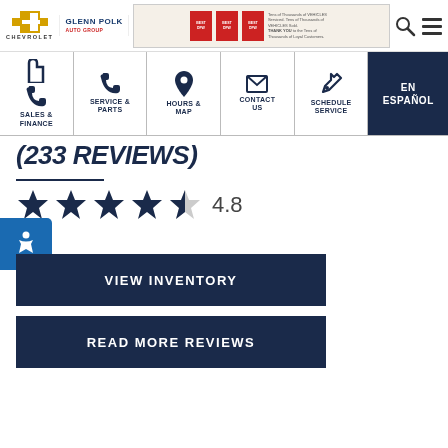Glenn Polk Chevrolet Auto Group header with logo, banner advertisement, search and menu icons
SALES & FINANCE | SERVICE & PARTS | HOURS & MAP | CONTACT US | SCHEDULE SERVICE | EN ESPAÑOL
(233 REVIEWS)
[Figure (other): 4.8 star rating with 4 full stars and 1 half star, rating number 4.8]
VIEW INVENTORY
READ MORE REVIEWS